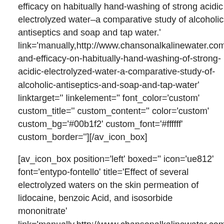efficacy on habitually hand-washing of strong acidic electrolyzed water–a comparative study of alcoholic antiseptics and soap and tap water.' link='manually,http://www.chansonalkalinewater.com/articles/effects-and-efficacy-on-habitually-hand-washing-of-strong-acidic-electrolyzed-water-a-comparative-study-of-alcoholic-antiseptics-and-soap-and-tap-water' linktarget='' linkelement='' font_color='custom' custom_title='' custom_content='' color='custom' custom_bg='#00b1f2' custom_font='#ffffff' custom_border=''][/av_icon_box]
[av_icon_box position='left' boxed='' icon='ue812' font='entypo-fontello' title='Effect of several electrolyzed waters on the skin permeation of lidocaine, benzoic Acid, and isosorbide mononitrate' link='manually,http://www.chansonalkalinewater.com/articles/effect-of-several-electrolyzed-waters-on-the-skin-permeation-of-